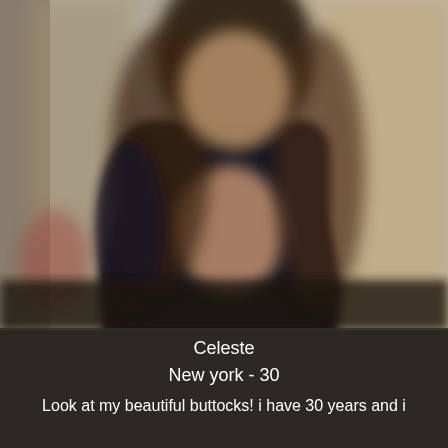[Figure (photo): Blurred photo of a person wearing a dark top, taken indoors. The person's face and identifying features are obscured/blurred. Background shows a light-colored wall.]
Celeste
New york - 30
Look at my beautiful buttocks! i have 30 years and i